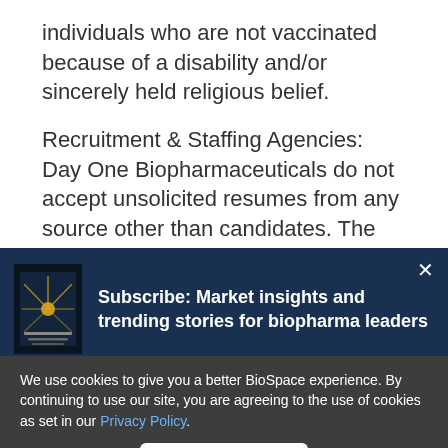individuals who are not vaccinated because of a disability and/or sincerely held religious belief.
Recruitment & Staffing Agencies: Day One Biopharmaceuticals do not accept unsolicited resumes from any source other than candidates. The submission of unsolicited resumes by recruitment or staffing agencies to Day One...
[Figure (screenshot): Subscribe popup overlay on a dark navy background with a phone image on the left showing a biopharma publication cover, and bold white text: 'Subscribe: Market insights and trending stories for biopharma leaders'. A white X close button is in the top right.]
We use cookies to give you a better BioSpace experience. By continuing to use our site, you are agreeing to the use of cookies as set in our Privacy Policy.
Accept